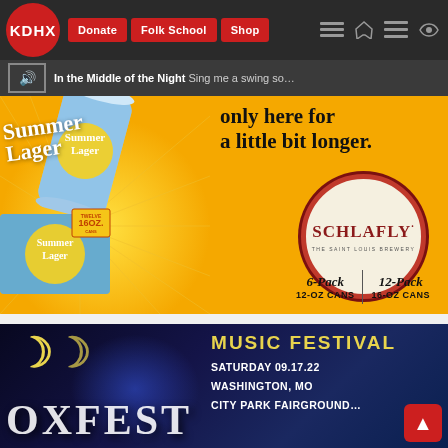KDHX | Donate | Folk School | Shop
In the Middle of the Night  Sing me a swing so...
[Figure (illustration): Schlafly Summer Lager advertisement on yellow/orange background showing Summer Lager can and 6-pack box with text 'only here for a little bit longer.' and Schlafly logo circle with '6-Pack 12-OZ CANS | 12-Pack 16-OZ CANS']
[Figure (illustration): OxFest Music Festival advertisement on dark blue background showing 'MUSIC FESTIVAL SATURDAY 09.17.22 WASHINGTON, MO CITY PARK FAIRGROUNDS' with OXFEST title text]